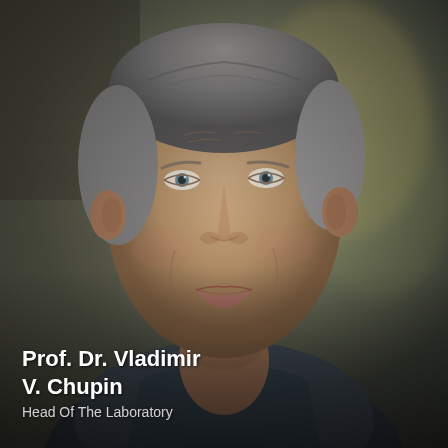[Figure (photo): Portrait photograph of an elderly man with gray hair, light blue eyes, and a gentle smile. He is wearing a dark gray/blue polo shirt. The background is blurred with warm neutral tones. The photo is a professional headshot taken from the shoulders up.]
Prof. Dr. Vladimir V. Chupin
Head Of The Laboratory